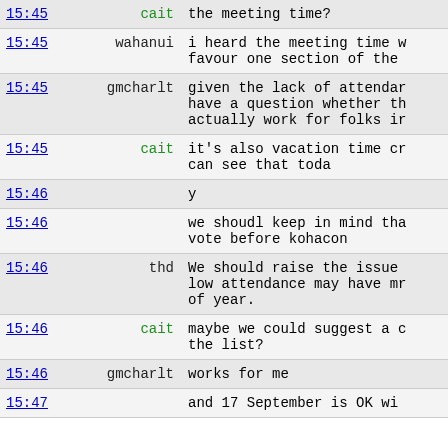| time | user | message |
| --- | --- | --- |
| 15:45 | cait | the meeting time? |
| 15:45 | wahanui | i heard the meeting time w favour one section of the |
| 15:45 | gmcharlt | given the lack of attendar have a question whether th actually work for folks ir |
| 15:45 | cait | it's also vacation time cr can see that toda |
| 15:46 |  | y |
| 15:46 |  | we shoudl keep in mind tha vote before kohacon |
| 15:46 | thd | We should raise the issue low attendance may have mr of year. |
| 15:46 | cait | maybe we could suggest a c the list? |
| 15:46 | gmcharlt | works for me |
| 15:47 |  | and 17 September is OK wi |